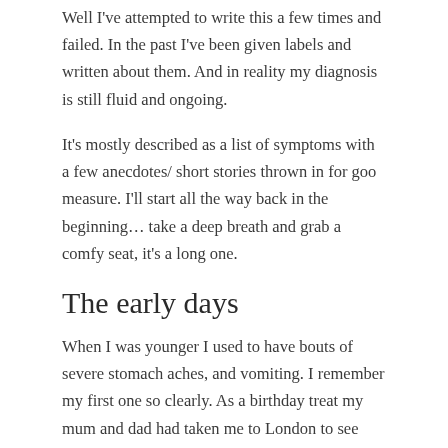Well I've attempted to write this a few times and failed. In the past I've been given labels and written about them. And in reality my diagnosis is still fluid and ongoing.
It's mostly described as a list of symptoms with a few anecdotes/ short stories thrown in for goo measure. I'll start all the way back in the beginning… take a deep breath and grab a comfy seat, it's a long one.
The early days
When I was younger I used to have bouts of severe stomach aches, and vomiting. I remember my first one so clearly. As a birthday treat my mum and dad had taken me to London to see 'Joseph and His Amazing Technicolour Dreamcoat'. Any 80s child, and closet Jason Donavon fan, will remember the song that was at number one for like